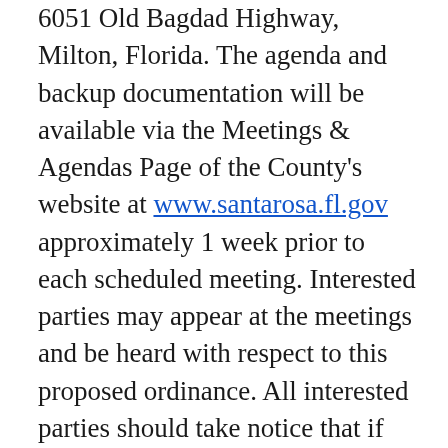6051 Old Bagdad Highway, Milton, Florida. The agenda and backup documentation will be available via the Meetings & Agendas Page of the County's website at www.santarosa.fl.gov approximately 1 week prior to each scheduled meeting. Interested parties may appear at the meetings and be heard with respect to this proposed ordinance. All interested parties should take notice that if they decide to appeal any decision made by the Santa Rosa County Board of County Commissioners with respect to any matter coming before said Board at said meeting, it is their individual responsibility to insure that a record of proceedings they are appealing exists and for such purpose they will need to insure that a verbatim record of the